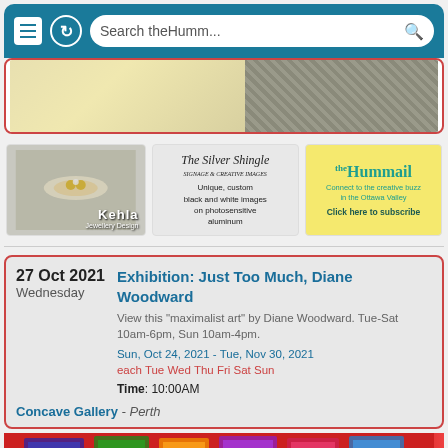[Figure (screenshot): Mobile browser chrome with hamburger menu, refresh icon, and search bar reading 'Search theHumm...']
[Figure (photo): Website banner with textured background split - left cream/yellow texture, right dark patterned texture]
[Figure (photo): Kehla Jewellery Design advertisement with rings on white fabric]
[Figure (photo): The Silver Shingle advertisement - unique custom black and white images on photosensitive aluminum]
[Figure (photo): theHummail advertisement - Connect to the creative buzz in the Ottawa Valley, Click here to subscribe]
27 Oct 2021
Wednesday
Exhibition: Just Too Much, Diane Woodward
View this "maximalist art" by Diane Woodward. Tue-Sat 10am-6pm, Sun 10am-4pm.
Sun, Oct 24, 2021 - Tue, Nov 30, 2021
each Tue Wed Thu Fri Sat Sun
Time: 10:00AM
Concave Gallery - Perth
[Figure (photo): Colorful folk art / maximalist paintings displayed in a gallery, red background with vibrant artwork]